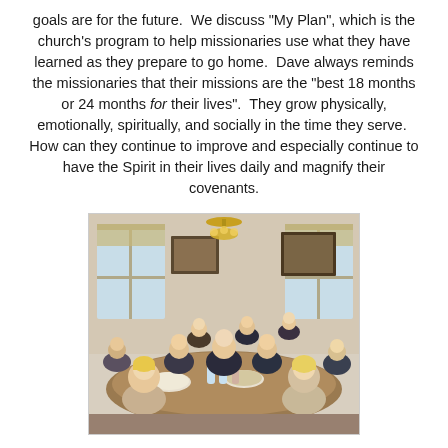goals are for the future.  We discuss "My Plan", which is the church's program to help missionaries use what they have learned as they prepare to go home.  Dave always reminds the missionaries that their missions are the "best 18 months or 24 months for their lives".  They grow physically, emotionally, spiritually, and socially in the time they serve.  How can they continue to improve and especially continue to have the Spirit in their lives daily and magnify their covenants.
[Figure (photo): Group of missionaries and hosts seated around a dining table for a meal, in a home setting with windows and artwork on the walls, chandelier above.]